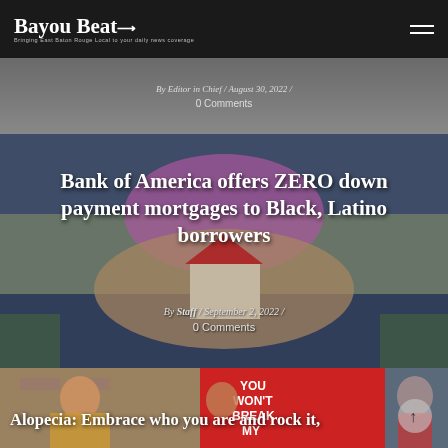Bayou Beat
By Editor in Chief / August 30, 2022 / 0 Comments
[Figure (photo): Hands holding a small model house, article photo for Bank of America mortgages story]
Bank of America offers ZERO down payment mortgages to Black, Latino borrowers
By Staff / September 2, 2022 / 0 Comments
[Figure (photo): Three-panel collage of women with alopecia, with text YOU WON'T BREAK MY on center panel]
Alopecia: Embrace who you are and rock it,